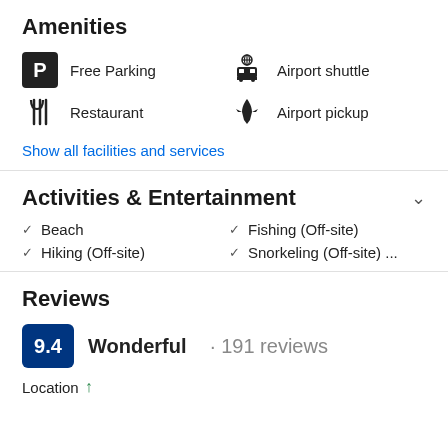Amenities
Free Parking
Restaurant
Airport shuttle
Airport pickup
Show all facilities and services
Activities & Entertainment
Beach
Hiking (Off-site)
Fishing (Off-site)
Snorkeling (Off-site) ...
Reviews
9.4  Wonderful · 191 reviews
Location ↑